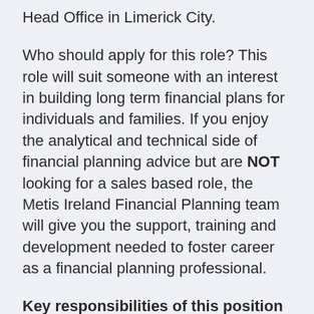Head Office in Limerick City.
Who should apply for this role? This role will suit someone with an interest in building long term financial plans for individuals and families. If you enjoy the analytical and technical side of financial planning advice but are NOT looking for a sales based role, the Metis Ireland Financial Planning team will give you the support, training and development needed to foster career as a financial planning professional.
Key responsibilities of this position will include:
Interpretation of client information...